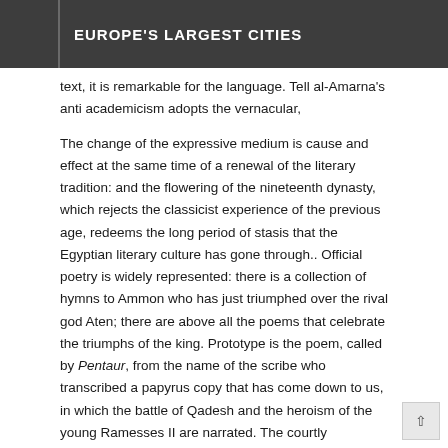EUROPE'S LARGEST CITIES
text, it is remarkable for the language. Tell al-Amarna's anti academicism adopts the vernacular,
The change of the expressive medium is cause and effect at the same time of a renewal of the literary tradition: and the flowering of the nineteenth dynasty, which rejects the classicist experience of the previous age, redeems the long period of stasis that the Egyptian literary culture has gone through.. Official poetry is widely represented: there is a collection of hymns to Ammon who has just triumphed over the rival god Aten; there are above all the poems that celebrate the triumphs of the king. Prototype is the poem, called by Pentaur, from the name of the scribe who transcribed a papyrus copy that has come down to us, in which the battle of Qadesh and the heroism of the young Ramesses II are narrated. The courtly inspiration is flanked by a romantic search for inspiration in everyday life and in fairytale fantasy. A flourishing of erotic lyricism in the nineteenth dynasty probably has this